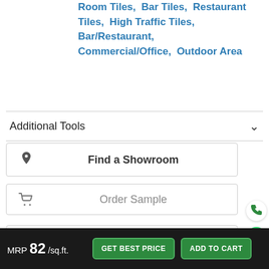Room Tiles, Bar Tiles, Restaurant Tiles, High Traffic Tiles, Bar/Restaurant, Commercial/Office, Outdoor Area
Additional Tools
Find a Showroom
Order Sample
Hi-Res Image
MRP 82 /sq.ft.
GET BEST PRICE
ADD TO CART